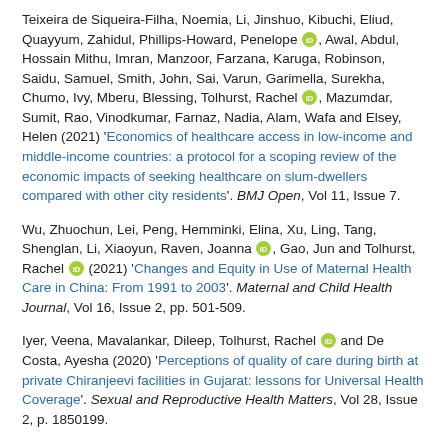Teixeira de Siqueira-Filha, Noemia, Li, Jinshuo, Kibuchi, Eliud, Quayyum, Zahidul, Phillips-Howard, Penelope [ORCID], Awal, Abdul, Hossain Mithu, Imran, Manzoor, Farzana, Karuga, Robinson, Saidu, Samuel, Smith, John, Sai, Varun, Garimella, Surekha, Chumo, Ivy, Mberu, Blessing, Tolhurst, Rachel [ORCID], Mazumdar, Sumit, Rao, Vinodkumar, Farnaz, Nadia, Alam, Wafa and Elsey, Helen (2021) 'Economics of healthcare access in low-income and middle-income countries: a protocol for a scoping review of the economic impacts of seeking healthcare on slum-dwellers compared with other city residents'. BMJ Open, Vol 11, Issue 7.
Wu, Zhuochun, Lei, Peng, Hemminki, Elina, Xu, Ling, Tang, Shenglan, Li, Xiaoyun, Raven, Joanna [ORCID], Gao, Jun and Tolhurst, Rachel [ORCID] (2021) 'Changes and Equity in Use of Maternal Health Care in China: From 1991 to 2003'. Maternal and Child Health Journal, Vol 16, Issue 2, pp. 501-509.
Iyer, Veena, Mavalankar, Dileep, Tolhurst, Rachel [ORCID] and De Costa, Ayesha (2020) 'Perceptions of quality of care during birth at private Chiranjeevi facilities in Gujarat: lessons for Universal Health Coverage'. Sexual and Reproductive Health Matters, Vol 28, Issue 2, p. 1850199.
Jensen, Claire, Heneine, Emma, Mungai, Brenda, Murunga,